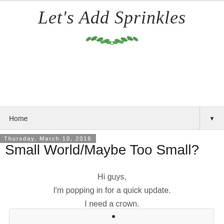Let’s Add Sprinkles
[Figure (illustration): Decorative leaf/laurel branch SVG divider in green]
Home
Thursday, March 10, 2016
Small World/Maybe Too Small?
Hi guys,
I’m popping in for a quick update.
I need a crown.